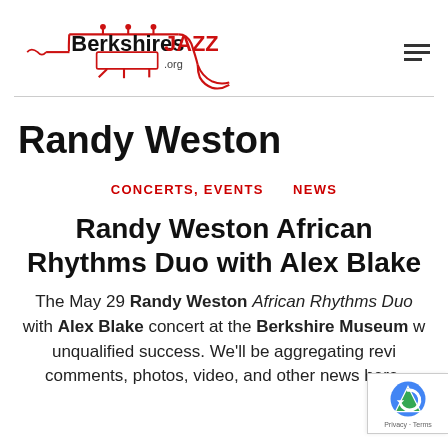[Figure (logo): Berkshires JAZZ .org logo with trumpet graphic in red and black]
Randy Weston
CONCERTS, EVENTS    NEWS
Randy Weston African Rhythms Duo with Alex Blake
The May 29 Randy Weston African Rhythms Duo with Alex Blake concert at the Berkshire Museum was an unqualified success. We'll be aggregating reviews, comments, photos, video, and other news here,